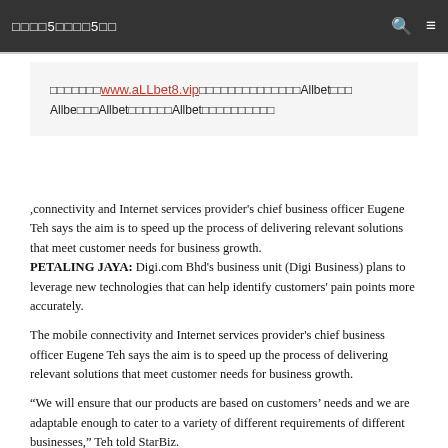□□□□5□□□□5□□
□□□□□□□www.aLLbet8.vip□□□□□□□□□□□□□□Allbet□□□Allbe□□□Allbet□□□□□□Allbet□□□□□□□□□□
,connectivity and Internet services provider's chief business officer Eugene Teh says the aim is to speed up the process of delivering relevant solutions that meet customer needs for business growth.
PETALING JAYA: Digi.com Bhd's business unit (Digi Business) plans to leverage new technologies that can help identify customers' pain points more accurately.
The mobile connectivity and Internet services provider's chief business officer Eugene Teh says the aim is to speed up the process of delivering relevant solutions that meet customer needs for business growth.
“We will ensure that our products are based on customers’ needs and we are adaptable enough to cater to a variety of different requirements of different businesses,” Teh told StarBiz.